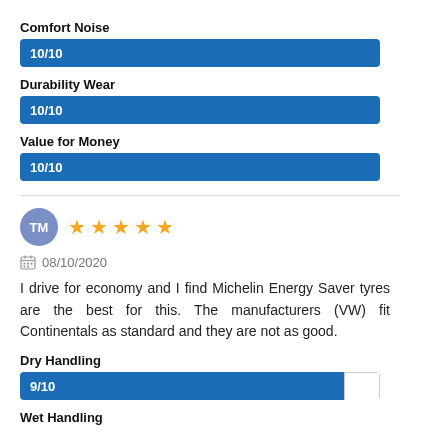Comfort Noise
[Figure (bar-chart): Comfort Noise]
Durability Wear
[Figure (bar-chart): Durability Wear]
Value for Money
[Figure (bar-chart): Value for Money]
TM
08/10/2020
I drive for economy and I find Michelin Energy Saver tyres are the best for this. The manufacturers (VW) fit Continentals as standard and they are not as good.
Dry Handling
[Figure (bar-chart): Dry Handling]
Wet Handling